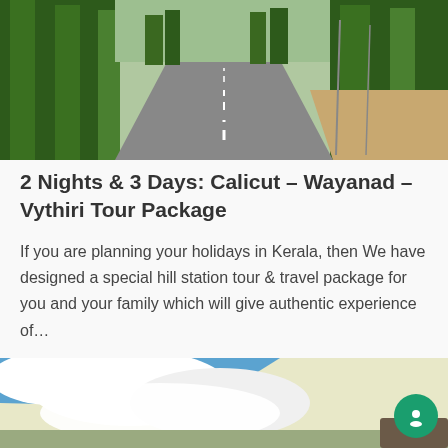[Figure (photo): A road lined with tall trees on both sides, with dashed white lane markings, leading into the distance. Green forested landscape on either side.]
2 Nights & 3 Days: Calicut – Wayanad – Vythiri Tour Package
If you are planning your holidays in Kerala, then We have designed a special hill station tour & travel package for you and your family which will give authentic experience of…
[Figure (photo): A partially visible scenic landscape photo with blue sky and large white clouds, appearing to show a hill station or outdoor scenic view.]